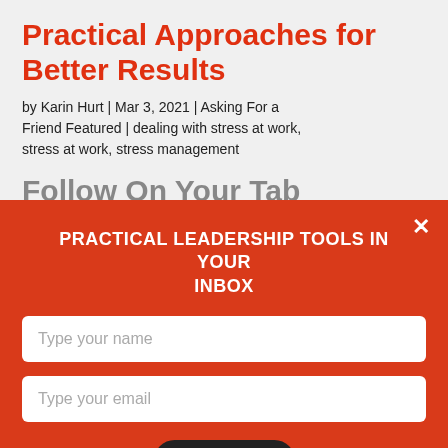Practical Approaches for Better Results
by Karin Hurt | Mar 3, 2021 | Asking For a Friend Featured | dealing with stress at work, stress at work, stress management
Follow On Your Tab...
PRACTICAL LEADERSHIP TOOLS IN YOUR INBOX
Type your name
Type your email
Submit